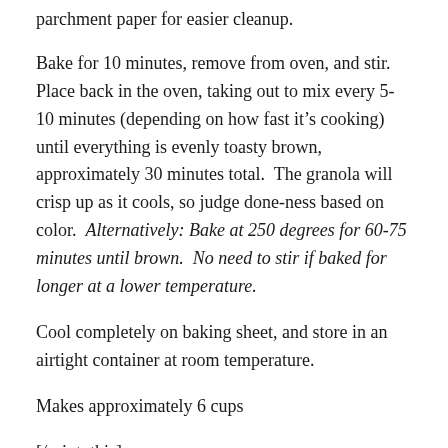parchment paper for easier cleanup.
Bake for 10 minutes, remove from oven, and stir.  Place back in the oven, taking out to mix every 5-10 minutes (depending on how fast it’s cooking) until everything is evenly toasty brown, approximately 30 minutes total.  The granola will crisp up as it cools, so judge done-ness based on color.  Alternatively: Bake at 250 degrees for 60-75 minutes until brown.  No need to stir if baked for longer at a lower temperature.
Cool completely on baking sheet, and store in an airtight container at room temperature.
Makes approximately 6 cups
[/print_this]